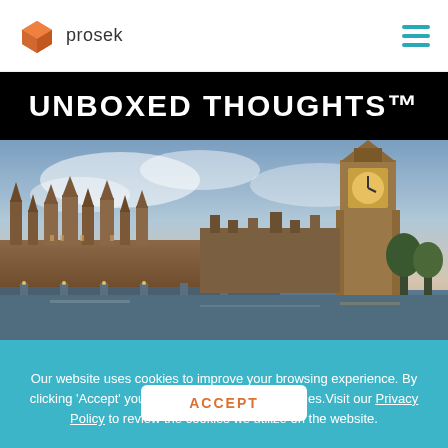prosek
UNBOXED THOUGHTS™
[Figure (photo): Photograph of the Houses of Parliament and Big Ben in London, taken from across the Thames at dusk with a dramatic cloudy sky.]
Our website uses cookies to improve your browsing experience. By clicking 'Accept' you agree to the use of all cookies. Visit our Privacy Policy to review the cookies we utilize on the website.
ACCEPT